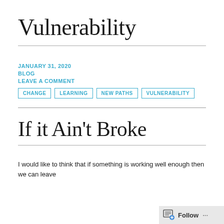Vulnerability
JANUARY 31, 2020
BLOG
LEAVE A COMMENT
CHANGE
LEARNING
NEW PATHS
VULNERABILITY
If it Ain't Broke
I would like to think that if something is working well enough then we can leave